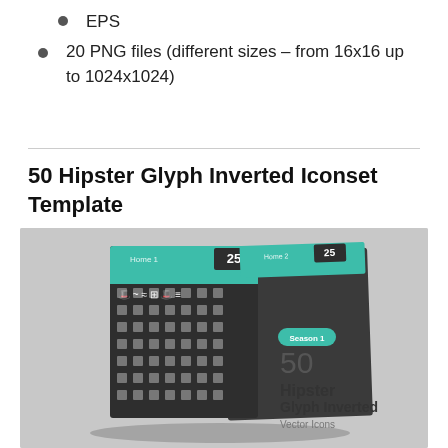EPS
20 PNG files (different sizes – from 16x16 up to 1024x1024)
50 Hipster Glyph Inverted Iconset Template
[Figure (illustration): Product mockup showing two dark booklet panels with white hipster glyph icons arranged in a grid, labeled '50 Hipster Glyph Inverted Vector Icons' with a teal 'Season 1' badge, on a light gray background.]